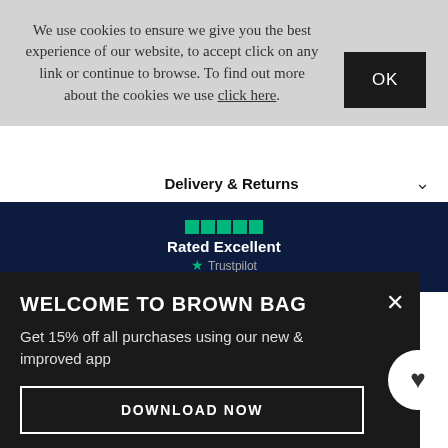We use cookies to ensure we give you the best experience of our website, to accept click on any link or continue to browse. To find out more about the cookies we use click here.
OK
Delivery & Returns
[Figure (infographic): Trustpilot rating band with 4.5 green stars, text 'Rated Excellent' in white on navy background, Trustpilot logo below]
WELCOME TO BROWN BAG
Get 15% off all purchases using our new & improved app
DOWNLOAD NOW
*Excludes clearance, sale & any other promotion